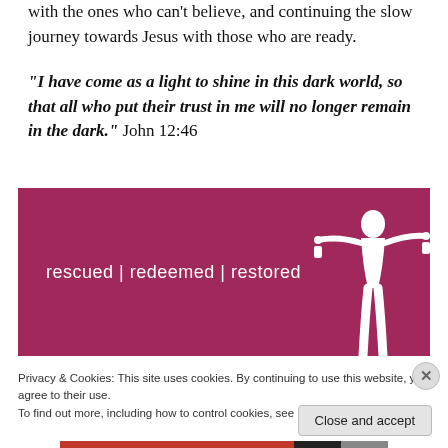with the ones who can't believe, and continuing the slow journey towards Jesus with those who are ready.
“I have come as a light to shine in this dark world, so that all who put their trust in me will no longer remain in the dark.” John 12:46
[Figure (illustration): Dark magenta/maroon banner with white text 'rescued | redeemed | restored' and a white silhouette of a woman with arms outstretched and chains at her wrists]
Privacy & Cookies: This site uses cookies. By continuing to use this website, you agree to their use.
To find out more, including how to control cookies, see here: Cookie Policy